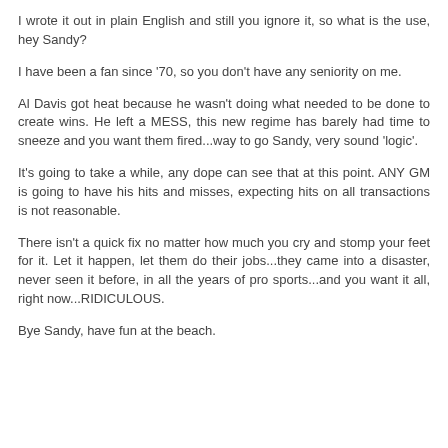I wrote it out in plain English and still you ignore it, so what is the use, hey Sandy?
I have been a fan since '70, so you don't have any seniority on me.
Al Davis got heat because he wasn't doing what needed to be done to create wins. He left a MESS, this new regime has barely had time to sneeze and you want them fired...way to go Sandy, very sound 'logic'.
It's going to take a while, any dope can see that at this point. ANY GM is going to have his hits and misses, expecting hits on all transactions is not reasonable.
There isn't a quick fix no matter how much you cry and stomp your feet for it. Let it happen, let them do their jobs...they came into a disaster, never seen it before, in all the years of pro sports...and you want it all, right now...RIDICULOUS.
Bye Sandy, have fun at the beach.